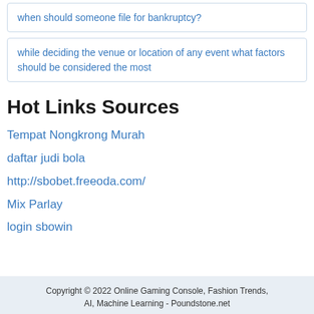when should someone file for bankruptcy?
while deciding the venue or location of any event what factors should be considered the most
Hot Links Sources
Tempat Nongkrong Murah
daftar judi bola
http://sbobet.freeoda.com/
Mix Parlay
login sbowin
Copyright © 2022 Online Gaming Console, Fashion Trends, AI, Machine Learning - Poundstone.net